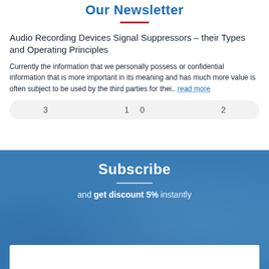Our Newsletter
Audio Recording Devices Signal Suppressors – their Types and Operating Principles
Currently the information that we personally possess or confidential information that is more important in its meaning and has much more value is often subject to be used by the third parties for thei.. read more
3   10   2
[Figure (illustration): Blue subscribe banner with keyboard background, white Subscribe heading, horizontal rule, and text 'and get discount 5% instantly', with white input field at bottom]